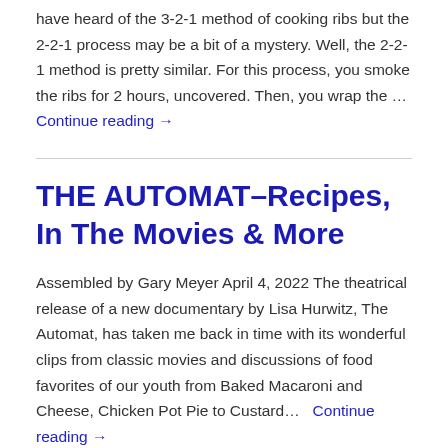have heard of the 3-2-1 method of cooking ribs but the 2-2-1 process may be a bit of a mystery. Well, the 2-2-1 method is pretty similar. For this process, you smoke the ribs for 2 hours, uncovered. Then, you wrap the …
Continue reading →
THE AUTOMAT–Recipes, In The Movies & More
Assembled by Gary Meyer April 4, 2022 The theatrical release of a new documentary by Lisa Hurwitz, The Automat, has taken me back in time with its wonderful clips from classic movies and discussions of food favorites of our youth from Baked Macaroni and Cheese, Chicken Pot Pie to Custard… Continue reading →